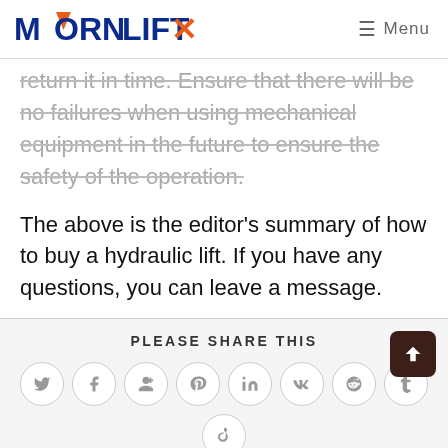MORN LIFT  Menu
return it in time. Ensure that there will be no failures when using mechanical equipment in the future to ensure the safety of the operation.
The above is the editor's summary of how to buy a hydraulic lift. If you have any questions, you can leave a message.
PLEASE SHARE THIS